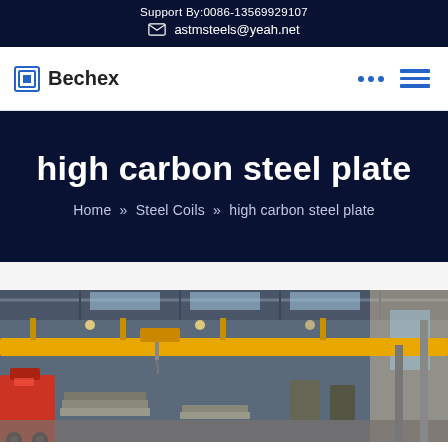Support By:0086-13569929107
astmsteels@yeah.net
Bechex
high carbon steel plate
Home » Steel Coils » high carbon steel plate
[Figure (photo): Industrial steel factory interior with overhead crane and yellow beam, workers and steel plates on the floor]